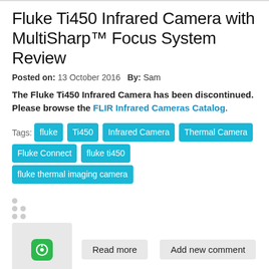Fluke Ti450 Infrared Camera with MultiSharp™ Focus System Review
Posted on: 13 October 2016   By: Sam
The Fluke Ti450 Infrared Camera has been discontinued. Please browse the FLIR Infrared Cameras Catalog.
Tags: fluke  Ti450  Infrared Camera  Thermal Camera  Fluke Connect  fluke ti450  fluke thermal imaging camera
[Figure (other): Social sharing / avatar icon in green rounded square]
Read more   Add new comment